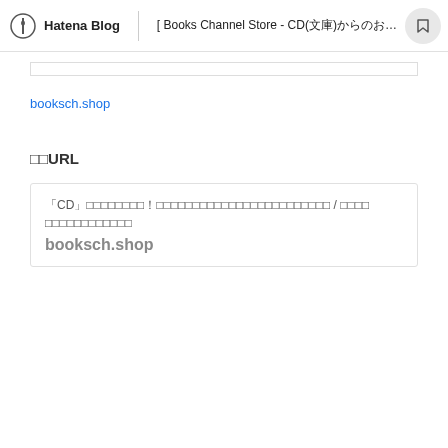Hatena Blog | [ Books Channel Store - CD(CD)　　　 |...
booksch.shop
URL
【CD　　　　　　　！　　　　　　　　　　　　　　　　　　　　 / 　　　
　　　　　　　　　　　
booksch.shop